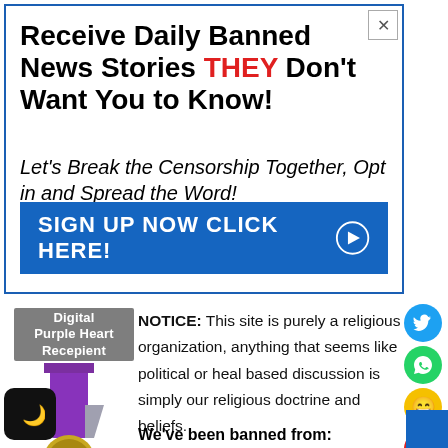Receive Daily Banned News Stories THEY Don't Want You to Know!
Let's Break the Censorship Together, Opt in and Spread the Word!
SIGN UP NOW CLICK HERE!
[Figure (illustration): Digital Purple Heart Recipient badge medal illustration]
NOTICE: This site is purely a religious organization, anything that seems like political or heal based discussion is simply our religious doctrine and beliefs.
We've been banned from: